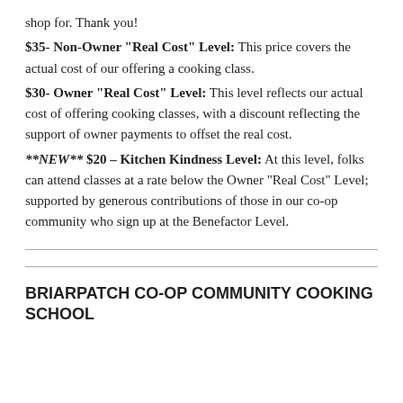shop for. Thank you!
$35- Non-Owner “Real Cost” Level: This price covers the actual cost of our offering a cooking class.
$30- Owner “Real Cost” Level: This level reflects our actual cost of offering cooking classes, with a discount reflecting the support of owner payments to offset the real cost.
**NEW** $20 – Kitchen Kindness Level: At this level, folks can attend classes at a rate below the Owner “Real Cost” Level; supported by generous contributions of those in our co-op community who sign up at the Benefactor Level.
BRIARPATCH CO-OP COMMUNITY COOKING SCHOOL